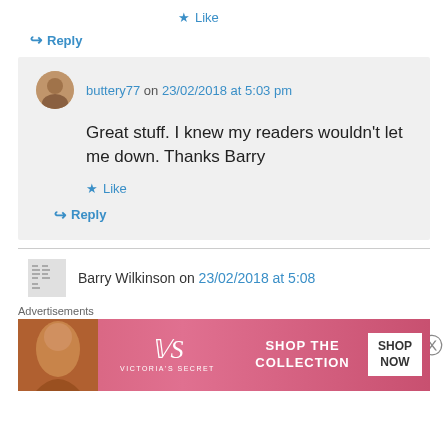★ Like
↪ Reply
buttery77 on 23/02/2018 at 5:03 pm
Great stuff. I knew my readers wouldn't let me down. Thanks Barry
★ Like
↪ Reply
Barry Wilkinson on 23/02/2018 at 5:08
Advertisements
[Figure (photo): Victoria's Secret advertisement banner with model photo, VS logo, 'SHOP THE COLLECTION' text, and 'SHOP NOW' button]